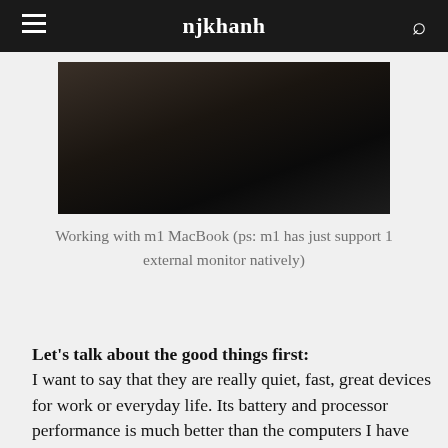njkhanh
[Figure (photo): Dark photograph of a laptop/MacBook on a desk, dimly lit scene]
Working with m1 MacBook (ps: m1 has just support 1 external monitor natively)
Let's talk about the good things first:
I want to say that they are really quiet, fast, great devices for work or everyday life. Its battery and processor performance is much better than the computers I have used before.
If you are not running too many virtual machines and processes, it offers a battery life of 6 to 8 hours while running.
If you are actively using virtual machines and